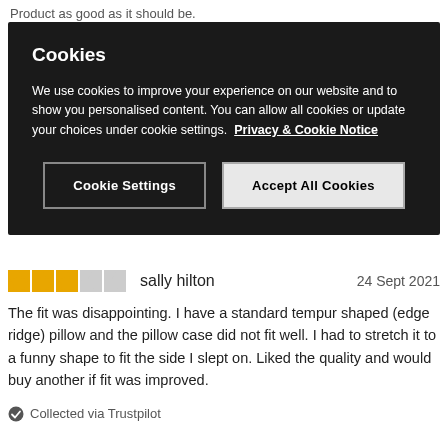Product as good as it should be.
Cookies
We use cookies to improve your experience on our website and to show you personalised content. You can allow all cookies or update your choices under cookie settings.  Privacy & Cookie Notice
Cookie Settings
Accept All Cookies
sally hilton    24 Sept 2021
The fit was disappointing. I have a standard tempur shaped (edge ridge) pillow and the pillow case did not fit well. I had to stretch it to a funny shape to fit the side I slept on. Liked the quality and would buy another if fit was improved.
Collected via Trustpilot